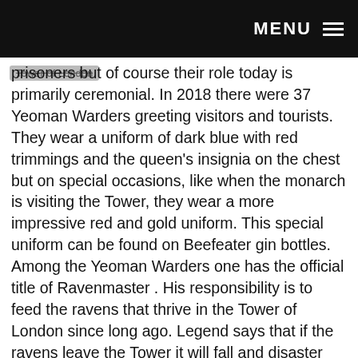MENU
Tower of London prisoners but of course their role today is primarily ceremonial. In 2018 there were 37 Yeoman Warders greeting visitors and tourists. They wear a uniform of dark blue with red trimmings and the queen's insignia on the chest but on special occasions, like when the monarch is visiting the Tower, they wear a more impressive red and gold uniform. This special uniform can be found on Beefeater gin bottles.
Among the Yeoman Warders one has the official title of Ravenmaster . His responsibility is to feed the ravens that thrive in the Tower of London since long ago. Legend says that if the ravens leave the Tower it will fall and disaster will befall the Kingdom. So, ever since the reign of King Charles II the ravens were allowed to